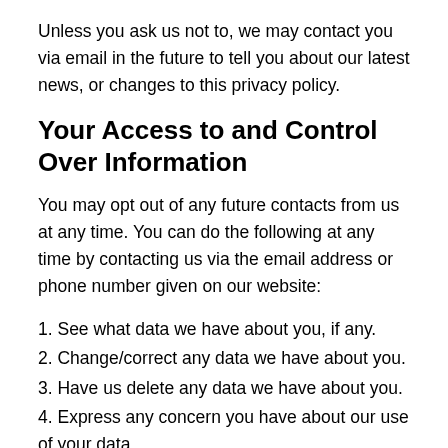Unless you ask us not to, we may contact you via email in the future to tell you about our latest news, or changes to this privacy policy.
Your Access to and Control Over Information
You may opt out of any future contacts from us at any time. You can do the following at any time by contacting us via the email address or phone number given on our website:
1. See what data we have about you, if any.
2. Change/correct any data we have about you.
3. Have us delete any data we have about you.
4. Express any concern you have about our use of your data.
Security